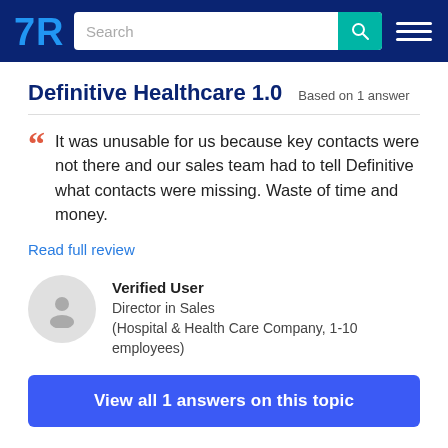TrustRadius — Search bar and navigation
Definitive Healthcare 1.0   Based on 1 answer
It was unusable for us because key contacts were not there and our sales team had to tell Definitive what contacts were missing. Waste of time and money.
Read full review
Verified User
Director in Sales
(Hospital & Health Care Company, 1-10 employees)
View all 1 answers on this topic